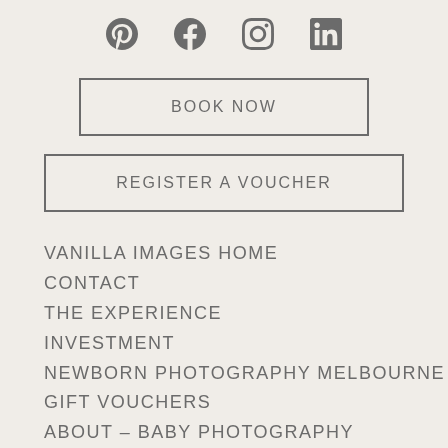[Figure (infographic): Four social media icons: Pinterest, Facebook, Instagram, LinkedIn displayed horizontally]
BOOK NOW
REGISTER A VOUCHER
VANILLA IMAGES HOME
CONTACT
THE EXPERIENCE
INVESTMENT
NEWBORN PHOTOGRAPHY MELBOURNE
GIFT VOUCHERS
ABOUT – BABY PHOTOGRAPHY
MELBOURNE